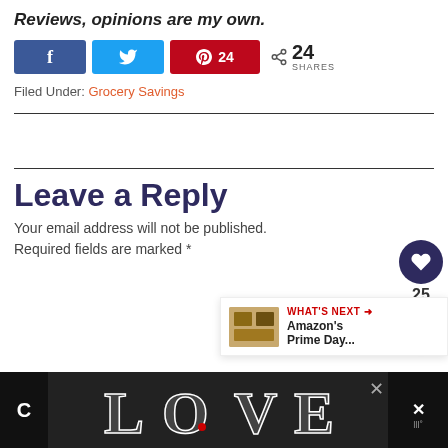Reviews, opinions are my own.
f [Facebook share button] | [Twitter share button] | [Pinterest] 24 | < 24 SHARES
Filed Under: Grocery Savings
Leave a Reply
Your email address will not be published. Required fields are marked *
[Figure (infographic): WHAT'S NEXT arrow - Amazon's Prime Day... notification box with food image thumbnail]
[Figure (illustration): LOVE decorative text logo in black and white ornamental style at bottom ad bar]